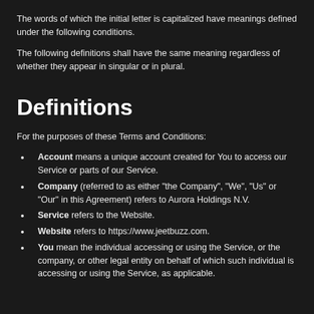The words of which the initial letter is capitalized have meanings defined under the following conditions.
The following definitions shall have the same meaning regardless of whether they appear in singular or in plural.
Definitions
For the purposes of these Terms and Conditions:
Account means a unique account created for You to access our Service or parts of our Service.
Company (referred to as either “the Company”, “We”, “Us” or “Our” in this Agreement) refers to Aurora Holdings N.V.
Service refers to the Website.
Website refers to https://www.jeetbuzz.com.
You mean the individual accessing or using the Service, or the company, or other legal entity on behalf of which such individual is accessing or using the Service, as applicable.